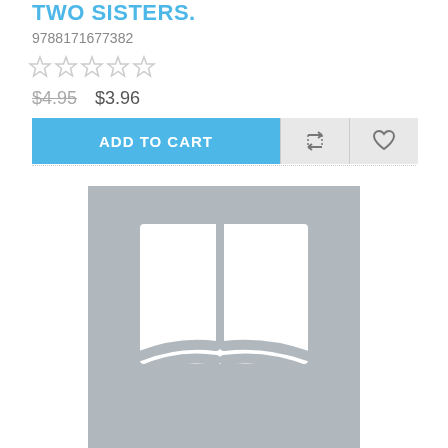TWO SISTERS.
9788171677382
[Figure (other): Five empty star rating icons in a row]
$4.95  $3.96
[Figure (other): Add to Cart button with recycle/compare icon and heart/wishlist icon]
[Figure (other): Gray placeholder book cover image with open book logo icon]